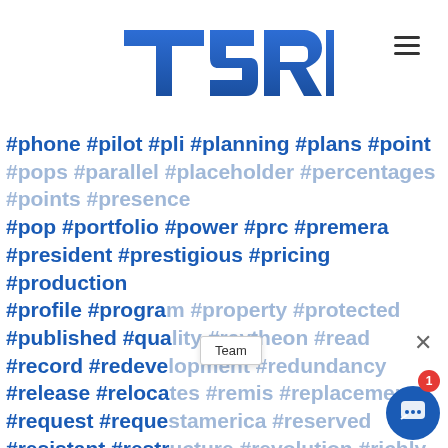TSRI logo and navigation
#phone #pilot #pli #planning #plans #point #pop #portfolio #power #prc #premera #president #prestigious #pricing #production #profile #program #property #protected #published #quality #raytheon #read #record #redevelopment #redundancy #release #relocates #remis #replacement #request #requestamerica #reserved #resistant #restructure #revolution #richly #rights #roadmap #roger #roof #rosa #round #sacramento #saic #sales #salesteam #sandia #satellite #save #sba #scalable #sciences #second #secrets #secure #secured #select #selects #se #senior #sensor #series #serves #service #sesi #sheet #showcases #shown #shows